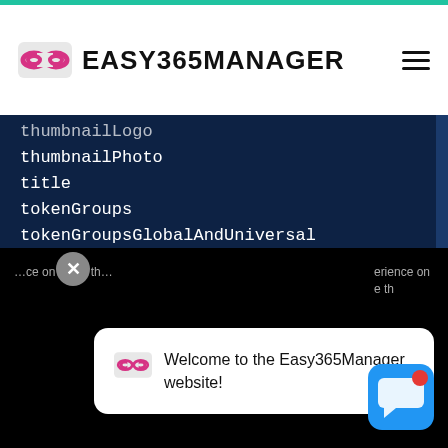EASY365MANAGER
thumbnailLogo
thumbnailPhoto
title
tokenGroups
tokenGroupsGlobalAndUniversal
tokenGroupsNoGCAcceptable
uid
uidNumber
unauthOrig
unauthOrigBL
unicodePwd
Welcome to the Easy365Manager website!